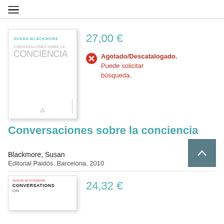≡
[Figure (illustration): Book cover: Conversaciones sobre la conciencia by Susan Blackmore, white cover with teal author name and grey title text]
27,00 €
Agotado/Descatalogado. Puede solicitar búsqueda.
Conversaciones sobre la conciencia
Blackmore, Susan
Editorial Paidós. Barcelona, 2010
[Figure (illustration): Book cover: Conversations on Consciousness by Susan Blackmore, white cover with red author name and bold black title]
24,32 €